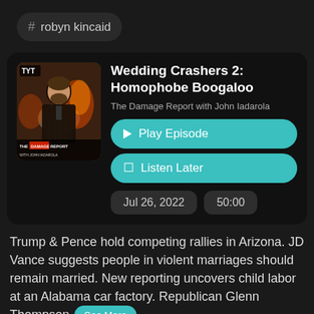# robyn kincaid
Wedding Crashers 2: Homophobe Boogaloo
The Damage Report with John Iadarola
Play Episode
Listen Later
Jul 26, 2022
50:00
Trump & Pence hold competing rallies in Arizona. JD Vance suggests people in violent marriages should remain married. New reporting uncovers child labor at an Alabama car factory. Republican Glenn Thompson
See More